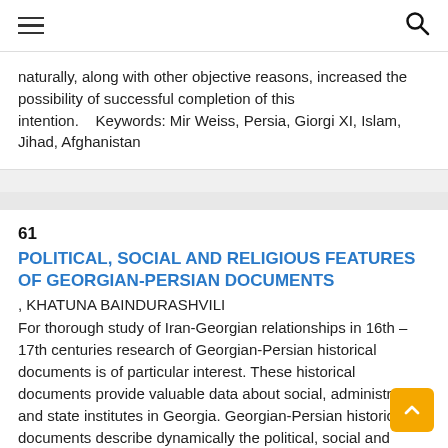≡  🔍
naturally, along with other objective reasons, increased the possibility of successful completion of this intention.    Keywords: Mir Weiss, Persia, Giorgi XI, Islam, Jihad, Afghanistan
61
POLITICAL, SOCIAL AND RELIGIOUS FEATURES OF GEORGIAN-PERSIAN DOCUMENTS
, KHATUNA BAINDURASHVILI
For thorough study of Iran-Georgian relationships in 16th – 17th centuries research of Georgian-Persian historical documents is of particular interest. These historical documents provide valuable data about social, administrative and state institutes in Georgia. Georgian-Persian historical documents describe dynamically the political, social and religious processes that have taken place in Eastern Georgia due to intervention of Safavid Iran in 16th-17th centuries. Studying of the separate segments of diplomatic monuments – interrelations between Georgian and